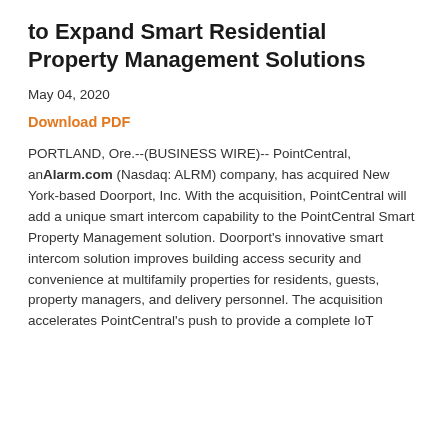to Expand Smart Residential Property Management Solutions
May 04, 2020
Download PDF
PORTLAND, Ore.--(BUSINESS WIRE)-- PointCentral, an Alarm.com (Nasdaq: ALRM) company, has acquired New York-based Doorport, Inc. With the acquisition, PointCentral will add a unique smart intercom capability to the PointCentral Smart Property Management solution. Doorport's innovative smart intercom solution improves building access security and convenience at multifamily properties for residents, guests, property managers, and delivery personnel. The acquisition accelerates PointCentral's push to provide a complete IoT